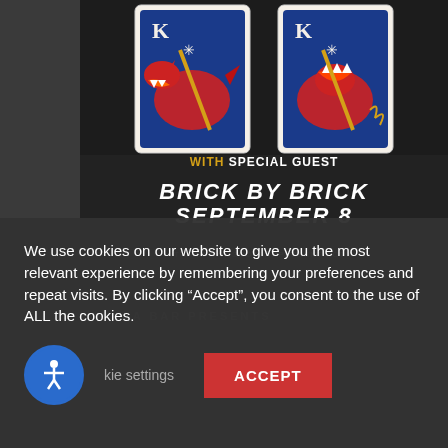[Figure (illustration): Concert event poster showing two playing card kings with dragon/monster illustrations on dark background. Text reads 'WITH SPECIAL GUEST', 'BRICK BY BRICK', 'SEPTEMBER 8', 'TICKETS AT SODABAR PRESENTS.COM']
SODA BAR PRESENTS
We use cookies on our website to give you the most relevant experience by remembering your preferences and repeat visits. By clicking “Accept”, you consent to the use of ALL the cookies.
kie settings
ACCEPT